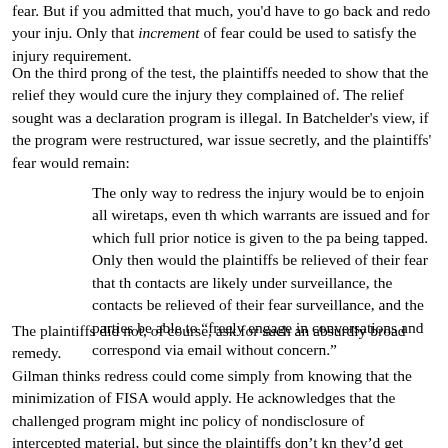fear. But if you admitted that much, you'd have to go back and redo your inju. Only that increment of fear could be used to satisfy the injury requirement.
On the third prong of the test, the plaintiffs needed to show that the relief they would cure the injury they complained of. The relief sought was a declaration program is illegal. In Batchelder's view, if the program were restructured, war issue secretly, and the plaintiffs' fear would remain:
The only way to redress the injury would be to enjoin all wiretaps, even th which warrants are issued and for which full prior notice is given to the pa being tapped. Only then would the plaintiffs be relieved of their fear that th contacts are likely under surveillance, the contacts be relieved of their fear surveillance, and the parties be able to “freely engage in conversations and correspond via email without concern.”
The plaintiffs did not, of course, ask for such an absurdly broad remedy.
Gilman thinks redress could come simply from knowing that the minimization of FISA would apply. He acknowledges that the challenged program might inc policy of nondisclosure of intercepted material, but since the plaintiffs don’t kn they’d get relief from knowing the government had to work within FISA. It is